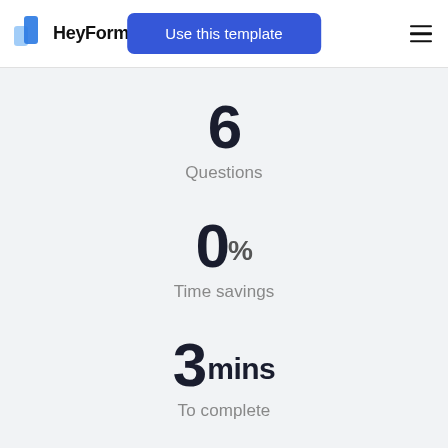HeyForm  Use this template  ≡
6
Questions
0%
Time savings
3 mins
To complete